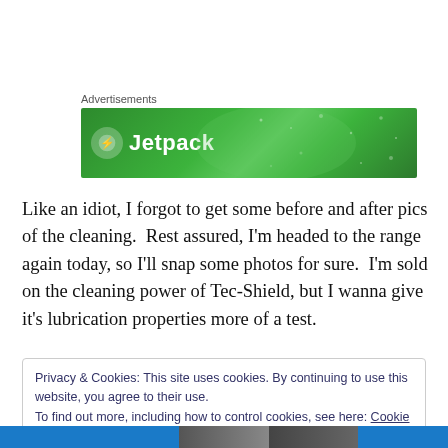Advertisements
[Figure (illustration): Green Jetpack advertisement banner with logo circle and 'Jetpack' text on green background with decorative dots]
Like an idiot, I forgot to get some before and after pics of the cleaning.  Rest assured, I'm headed to the range again today, so I'll snap some photos for sure.  I'm sold on the cleaning power of Tec-Shield, but I wanna give it's lubrication properties more of a test.
Privacy & Cookies: This site uses cookies. By continuing to use this website, you agree to their use.
To find out more, including how to control cookies, see here: Cookie Policy
Close and accept